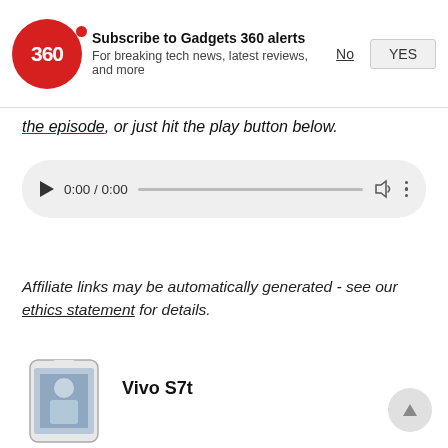[Figure (screenshot): Gadgets 360 subscription notification bar with logo, title 'Subscribe to Gadgets 360 alerts', subtitle 'For breaking tech news, latest reviews, and more', and No/YES buttons]
the episode, or just hit the play button below.
[Figure (other): Audio player widget showing 0:00 / 0:00 with play button, progress bar, volume icon, and more options icon]
Affiliate links may be automatically generated - see our ethics statement for details.
Vivo S7t
[Figure (photo): Vivo S7t smartphone product image showing the phone with a person on screen]